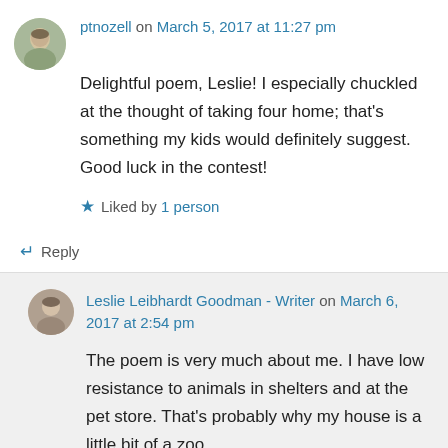ptnozell on March 5, 2017 at 11:27 pm
Delightful poem, Leslie! I especially chuckled at the thought of taking four home; that's something my kids would definitely suggest. Good luck in the contest!
Liked by 1 person
↵ Reply
Leslie Leibhardt Goodman - Writer on March 6, 2017 at 2:54 pm
The poem is very much about me. I have low resistance to animals in shelters and at the pet store. That's probably why my house is a little bit of a zoo.